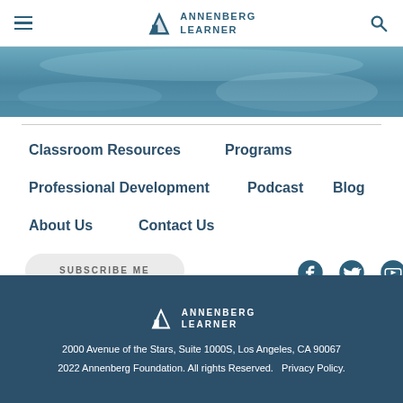Annenberg Learner
[Figure (photo): Blue-toned hero image showing hands writing on paper]
Classroom Resources
Programs
Professional Development
Podcast
Blog
About Us
Contact Us
SUBSCRIBE ME
2000 Avenue of the Stars, Suite 1000S, Los Angeles, CA 90067
2022 Annenberg Foundation. All rights Reserved.  Privacy Policy.